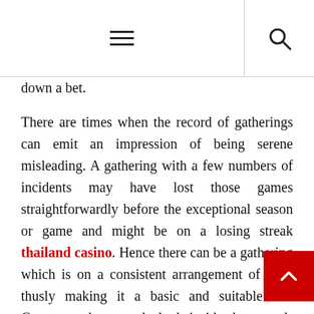≡  🔍
…putting down a bet.
There are times when the record of gatherings can emit an impression of being serene misleading. A gathering with a few numbers of incidents may have lost those games straightforwardly before the exceptional season or game and might be on a losing streak thailand casino. Hence there can be a gathering which is on a consistent arrangement of wins thusly making it a basic and suitable bet. Guarantee that you do look inside the records for additional information before putting down your soccer bets. Following the offered